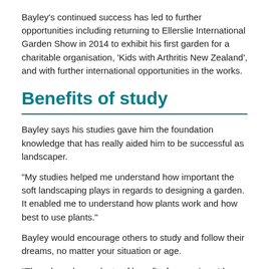Bayley's continued success has led to further opportunities including returning to Ellerslie International Garden Show in 2014 to exhibit his first garden for a charitable organisation, 'Kids with Arthritis New Zealand', and with further international opportunities in the works.
Benefits of study
Bayley says his studies gave him the foundation knowledge that has really aided him to be successful as landscaper.
“My studies helped me understand how important the soft landscaping plays in regards to designing a garden. It enabled me to understand how plants work and how best to use plants.”
Bayley would encourage others to study and follow their dreams, no matter your situation or age.
“There have been plenty of benefits for me since I have studied, I used to be a gardener now I run my own business and to not throw this into a classroom but the